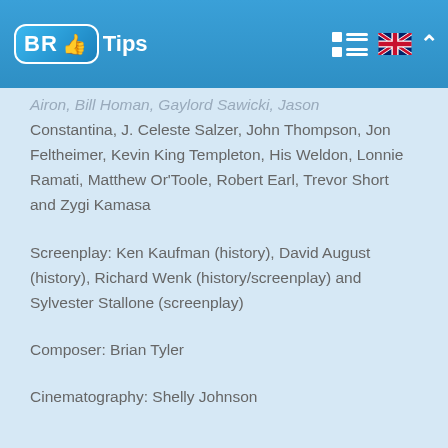BR Tips
Airon, Bill Homan, Gaylord Sawicki, Jason Constantina, J. Celeste Salzer, John Thompson, Jon Feltheimer, Kevin King Templeton, His Weldon, Lonnie Ramati, Matthew Or'Toole, Robert Earl, Trevor Short and Zygi Kamasa
Screenplay: Ken Kaufman (history), David August (history), Richard Wenk (history/screenplay) and Sylvester Stallone (screenplay)
Composer: Brian Tyler
Cinematography: Shelly Johnson